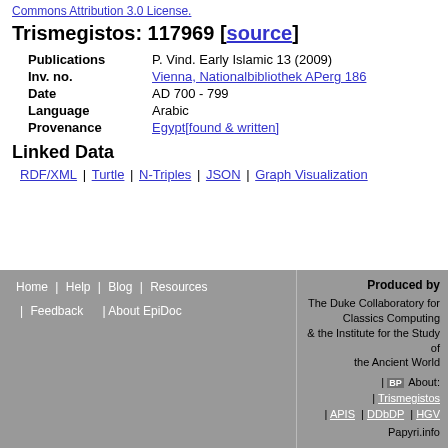Commons Attribution 3.0 License.
Trismegistos: 117969 [source]
| Publications | P. Vind. Early Islamic 13 (2009) |
| Inv. no. | Vienna, Nationalbibliothek APerg 186 |
| Date | AD 700 - 799 |
| Language | Arabic |
| Provenance | Egypt[found & written] |
Linked Data
RDF/XML | Turtle | N-Triples | JSON | Graph Visualization
Home | Help | Blog | Resources | Feedback | About EpiDoc | Produced by The Duke Collaboratory for Classics Computing & the Institute for the Study of the Ancient World | BP About: | Trismegistos | APIS | DDbDP | HGV | Papyri.info